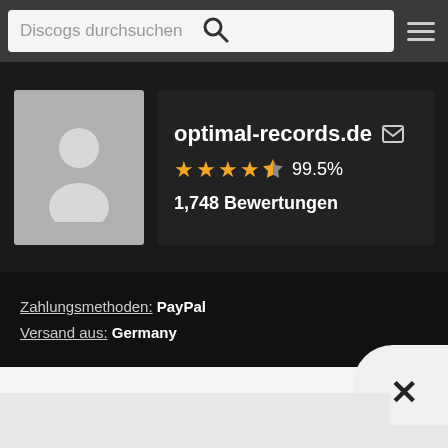[Figure (screenshot): Discogs mobile search bar navigation with search input field, search icon, and hamburger menu icon on dark gray background]
[Figure (photo): Seller profile: avatar placeholder (gray silhouette), seller name 'optimal-records.de' with mail icon, 4.5 star rating at 99.5%, 1,748 Bewertungen]
Zahlungsmethoden: PayPal
Versand aus: Germany
[Figure (screenshot): Close button (X) in rounded white area, with partial white popup strip below]